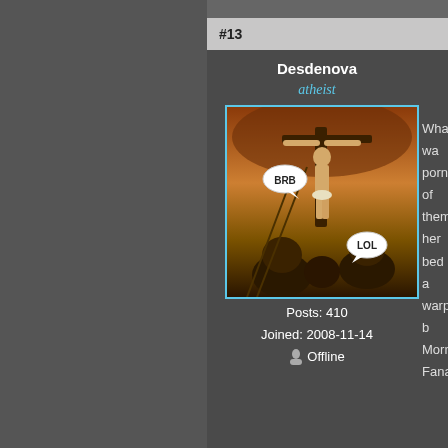#13
Desdenova
atheist
[Figure (photo): Crucifixion painting with speech bubbles saying 'BRB' and 'LOL']
Posts: 410
Joined: 2008-11-14
Offline
What wa... pornogra... of them ... her bed ... warped b... Mormon... Fanatics...
It takes a...
Save a t...